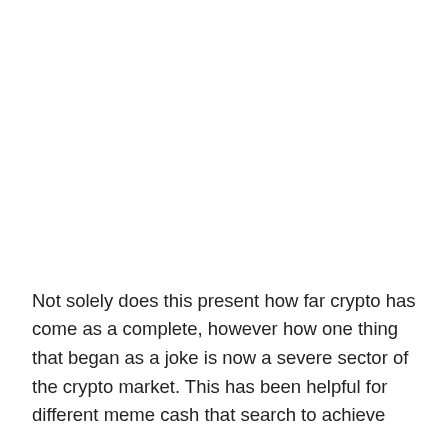Not solely does this present how far crypto has come as a complete, however how one thing that began as a joke is now a severe sector of the crypto market. This has been helpful for different meme cash that search to achieve success.